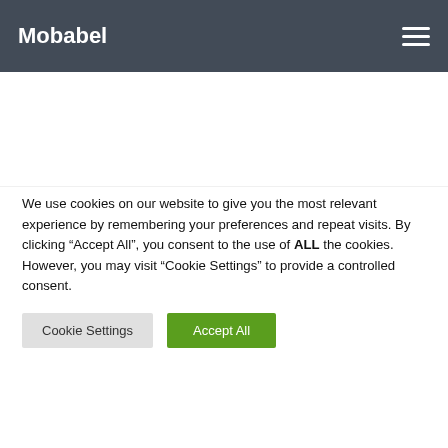Mobabel
YOU MAY ALSO LIKE...
[Figure (screenshot): Two placeholder card images with yellow comment badges showing '0' comments each]
We use cookies on our website to give you the most relevant experience by remembering your preferences and repeat visits. By clicking “Accept All”, you consent to the use of ALL the cookies. However, you may visit “Cookie Settings” to provide a controlled consent.